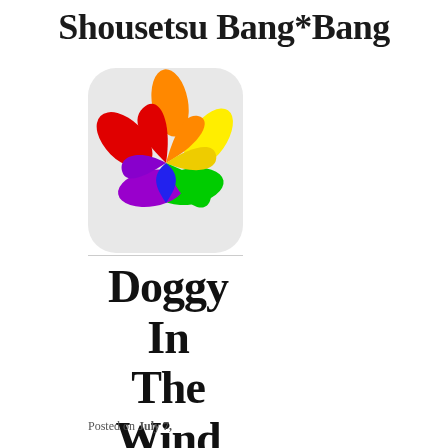Shousetsu Bang*Bang
[Figure (logo): Colorful flower/pinwheel logo with petals in red, orange, yellow, green, blue, purple, and a blue teardrop center, on a light gray rounded rectangle background]
Doggy In The Window
Posted on July 7, 2006 by ...